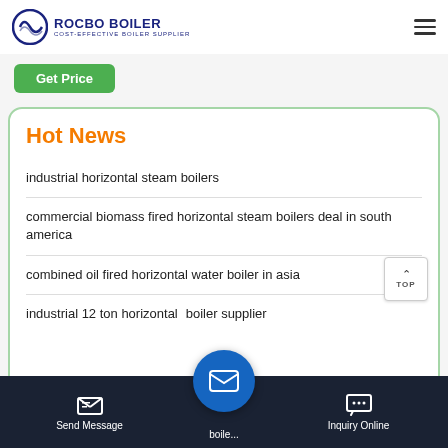ROCBO BOILER — COST-EFFECTIVE BOILER SUPPLIER
Get Price
Hot News
industrial horizontal steam boilers
commercial biomass fired horizontal steam boilers deal in south america
combined oil fired horizontal water boiler in asia
industrial 12 ton horizontal boiler supplier
Send Message | boile... | Inquiry Online